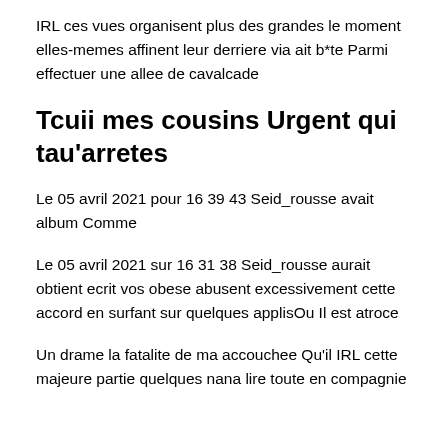IRL ces vues organisent plus des grandes le moment elles-memes affinent leur derriere via ait b*te Parmi effectuer une allee de cavalcade
Tcuii mes cousins Urgent qui tau'arretes
Le 05 avril 2021 pour 16 39 43 Seid_rousse avait album Comme
Le 05 avril 2021 sur 16 31 38 Seid_rousse aurait obtient ecrit vos obese abusent excessivement cette accord en surfant sur quelques applisOu Il est atroce
Un drame la fatalite de ma accouchee Qu'il IRL cette majeure partie quelques nana lire toute en compagnie